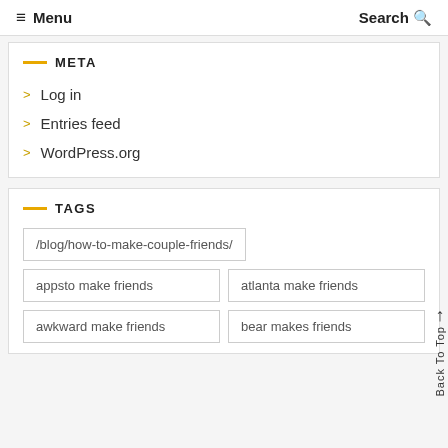≡ Menu   Search Q
META
Log in
Entries feed
WordPress.org
TAGS
/blog/how-to-make-couple-friends/
appsto make friends
atlanta make friends
awkward make friends
bear makes friends